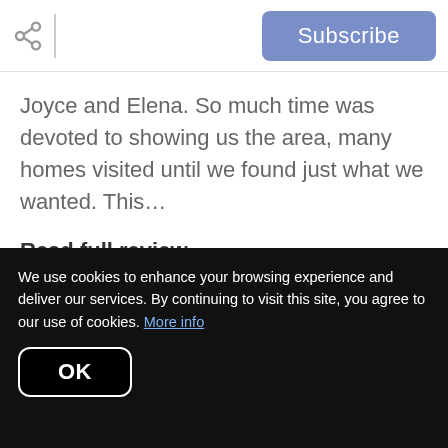Subscribe
Joyce and Elena. So much time was devoted to showing us the area, many homes visited until we found just what we wanted. This…
Read full review
[Figure (logo): Google Reviews logo with five gold stars and accessibility icon]
We use cookies to enhance your browsing experience and deliver our services. By continuing to visit this site, you agree to our use of cookies. More info
OK